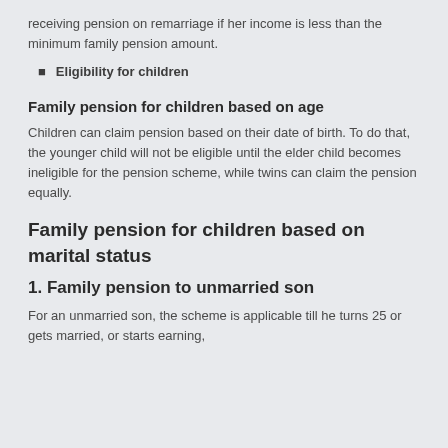receiving pension on remarriage if her income is less than the minimum family pension amount.
Eligibility for children
Family pension for children based on age
Children can claim pension based on their date of birth. To do that, the younger child will not be eligible until the elder child becomes ineligible for the pension scheme, while twins can claim the pension equally.
Family pension for children based on marital status
1. Family pension to unmarried son
For an unmarried son, the scheme is applicable till he turns 25 or gets married, or starts earning,